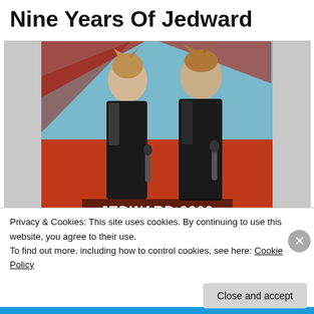Nine Years Of Jedward
[Figure (photo): Two young men (Jedward) in dark suits with spiked hair performing on stage with a red and blue background. Text overlay reads 'JEDWARD 2009'. Below the main photo is a partial view of another image showing two heads.]
Privacy & Cookies: This site uses cookies. By continuing to use this website, you agree to their use.
To find out more, including how to control cookies, see here: Cookie Policy